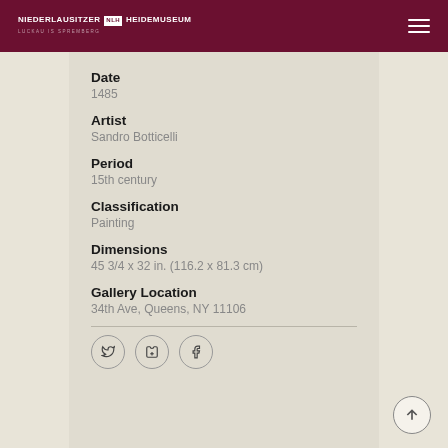NIEDERLAUSITZER HEIDEMUSEUM
Date
1485
Artist
Sandro Botticelli
Period
15th century
Classification
Painting
Dimensions
45 3/4 x 32 in. (116.2 x 81.3 cm)
Gallery Location
34th Ave, Queens, NY 11106